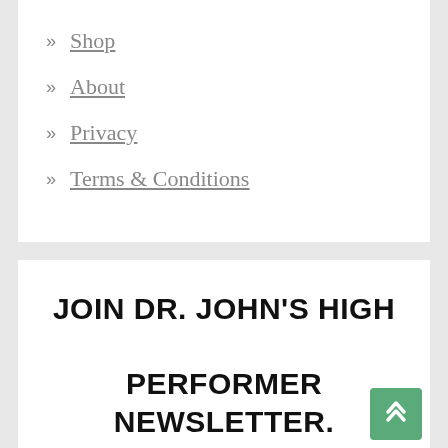» Shop
» About
» Privacy
» Terms & Conditions
JOIN DR. JOHN'S HIGH PERFORMER NEWSLETTER. GET FREE ACCESS TO TALK ON POWER OF MINDSET